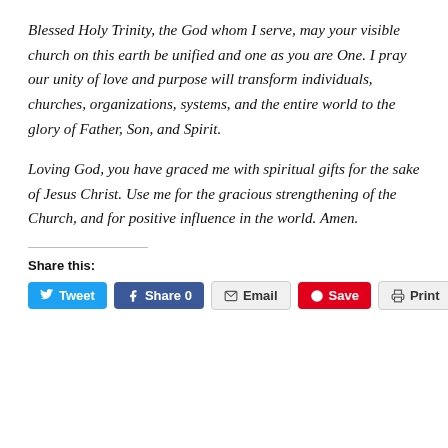Blessed Holy Trinity, the God whom I serve, may your visible church on this earth be unified and one as you are One. I pray our unity of love and purpose will transform individuals, churches, organizations, systems, and the entire world to the glory of Father, Son, and Spirit.
Loving God, you have graced me with spiritual gifts for the sake of Jesus Christ. Use me for the gracious strengthening of the Church, and for positive influence in the world. Amen.
Share this: